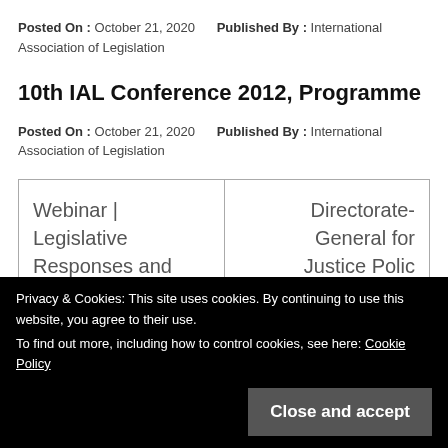Posted On : October 21, 2020    Published By : International Association of Legislation
10th IAL Conference 2012, Programme
Posted On : October 21, 2020    Published By : International Association of Legislation
| Webinar | Legislative Responses and... | Directorate-General for Justice Polic... |
20 October
Privacy & Cookies: This site uses cookies. By continuing to use this website, you agree to their use.
To find out more, including how to control cookies, see here: Cookie Policy